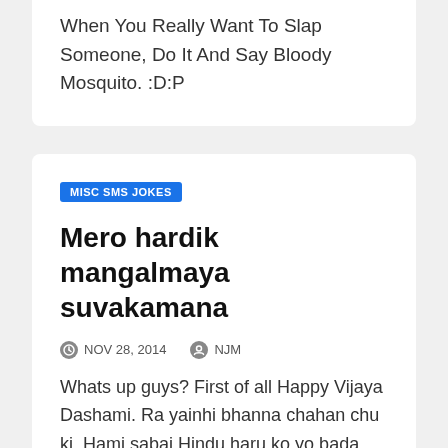When You Really Want To Slap Someone, Do It And Say Bloody Mosquito. :D:P
MISC SMS JOKES
Mero hardik mangalmaya suvakamana
NOV 28, 2014   NJM
Whats up guys? First of all Happy Vijaya Dashami. Ra yainhi bhanna chahan chu ki, Hami sabai Hindu haru ko yo bada dashain, Ramailo sanga bitos… Mero hardik mangalmaya suvakamana...